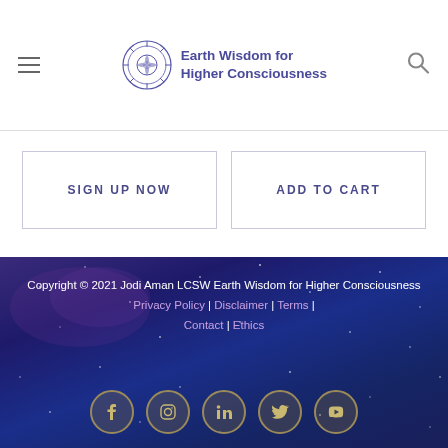Earth Wisdom for Higher Consciousness
SIGN UP NOW
ADD TO CART
Copyright © 2021 Jodi Aman LCSW Earth Wisdom for Higher Consciousness Privacy Policy | Disclaimer | Terms | Contact | Ethics
[Figure (other): Social media icons row: Facebook, Instagram, LinkedIn, Twitter, YouTube in circular golden-brown bordered buttons on starry night background]